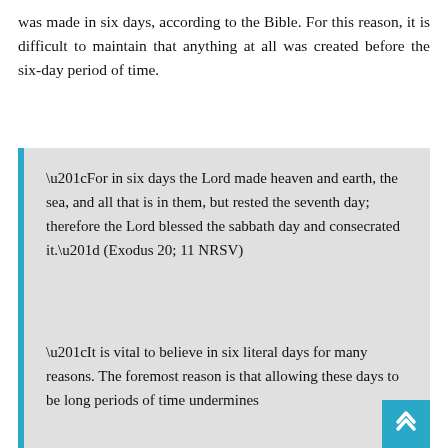was made in six days, according to the Bible. For this reason, it is difficult to maintain that anything at all was created before the six-day period of time.
“For in six days the Lord made heaven and earth, the sea, and all that is in them, but rested the seventh day; therefore the Lord blessed the sabbath day and consecrated it.” (Exodus 20; 11 NRSV)
“It is vital to believe in six literal days for many reasons. The foremost reason is that allowing these days to be long periods of time undermines